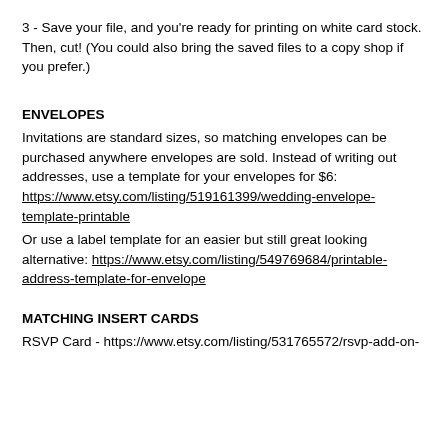3 - Save your file, and you're ready for printing on white card stock. Then, cut! (You could also bring the saved files to a copy shop if you prefer.)
ENVELOPES
Invitations are standard sizes, so matching envelopes can be purchased anywhere envelopes are sold. Instead of writing out addresses, use a template for your envelopes for $6: https://www.etsy.com/listing/519161399/wedding-envelope-template-printable
Or use a label template for an easier but still great looking alternative: https://www.etsy.com/listing/549769684/printable-address-template-for-envelope
MATCHING INSERT CARDS
RSVP Card - https://www.etsy.com/listing/531765572/rsvp-add-on-